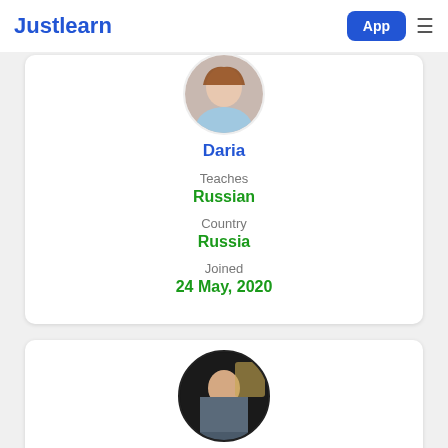Justlearn App ≡
[Figure (photo): Circular profile photo of tutor Daria, partially cropped at top]
Daria
Teaches
Russian
Country
Russia
Joined
24 May, 2020
[Figure (photo): Circular profile photo of second tutor, partially visible at bottom of page]